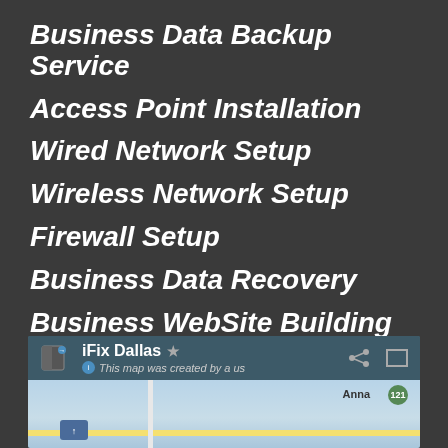Business Data Backup Service
Access Point Installation
Wired Network Setup
Wireless Network Setup
Firewall Setup
Business Data Recovery
Business WebSite Building
WE DO SERVICES AT BELOW LOCATIONS:
[Figure (screenshot): Google Maps embed showing iFix Dallas map with share and expand icons, subtitle 'This map was created by a user', and a map view showing Anna label and route 121 badge]